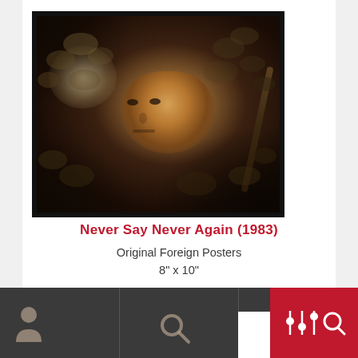[Figure (photo): Black and white/sepia photo of a man with intense gaze looking directly at camera, surrounded by foliage and branches, framed in black border]
Never Say Never Again (1983)
Original Foreign Posters
8" x 10"
Condition: Very Fine
[Figure (screenshot): Bottom navigation bar with dark background, person icon, search icon on left/center, white panel and red panel with icons on right side]